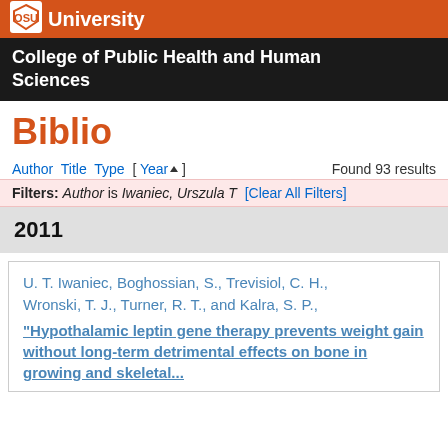University
College of Public Health and Human Sciences
Biblio
Author Title Type [ Year▲ ]   Found 93 results
Filters: Author is Iwaniec, Urszula T [Clear All Filters]
2011
U. T. Iwaniec, Boghossian, S., Trevisiol, C. H., Wronski, T. J., Turner, R. T., and Kalra, S. P., "Hypothalamic leptin gene therapy prevents weight gain without long-term detrimental effects on bone in growing and skeletally mature female rats,"